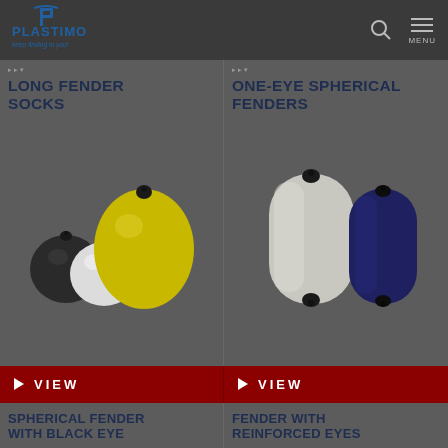[Figure (logo): Plastimo logo — keep finding to you!]
LONG FENDER SOCKS
ONE-EYE SPHERICAL FENDERS
[Figure (photo): Multiple spherical fenders in black, white, orange, and yellow colors]
[Figure (photo): Two cylindrical fenders, one white/light grey and one navy blue]
VIEW
VIEW
SPHERICAL FENDER WITH BLACK EYE
FENDER WITH REINFORCED EYES